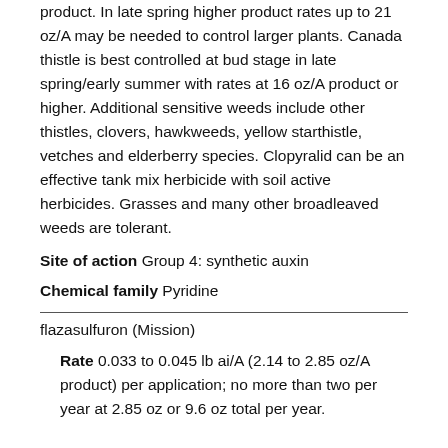product. In late spring higher product rates up to 21 oz/A may be needed to control larger plants. Canada thistle is best controlled at bud stage in late spring/early summer with rates at 16 oz/A product or higher. Additional sensitive weeds include other thistles, clovers, hawkweeds, yellow starthistle, vetches and elderberry species. Clopyralid can be an effective tank mix herbicide with soil active herbicides. Grasses and many other broadleaved weeds are tolerant.
Site of action Group 4: synthetic auxin
Chemical family Pyridine
flazasulfuron (Mission)
Rate 0.033 to 0.045 lb ai/A (2.14 to 2.85 oz/A product) per application; no more than two per year at 2.85 oz or 9.6 oz total per year.